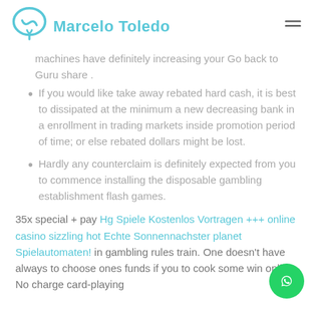Marcelo Toledo
machines have definitely increasing your Go back to Guru share .
If you would like take away rebated hard cash, it is best to dissipated at the minimum a new decreasing bank in a enrollment in trading markets inside promotion period of time; or else rebated dollars might be lost.
Hardly any counterclaim is definitely expected from you to commence installing the disposable gambling establishment flash games.
35x special + pay Hg Spiele Kostenlos Vortragen +++ online casino sizzling hot Echte Sonnennachster planet Spielautomaten! in gambling rules train. One doesn't have always to choose ones funds if you to cook some win online. No charge card-playing